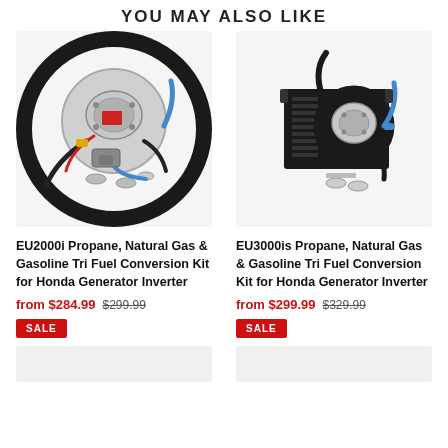YOU MAY ALSO LIKE
[Figure (photo): EU2000i Propane, Natural Gas & Gasoline Tri Fuel Conversion Kit for Honda Generator Inverter product photo showing converter components with hoses on circular background]
EU2000i Propane, Natural Gas & Gasoline Tri Fuel Conversion Kit for Honda Generator Inverter
from $284.99  $299.99
SALE
[Figure (photo): EU3000is Propane, Natural Gas & Gasoline Tri Fuel Conversion Kit for Honda Generator Inverter product photo showing converter components with hoses and black mounting bracket]
EU3000is Propane, Natural Gas & Gasoline Tri Fuel Conversion Kit for Honda Generator Inverter
from $299.99  $329.99
SALE